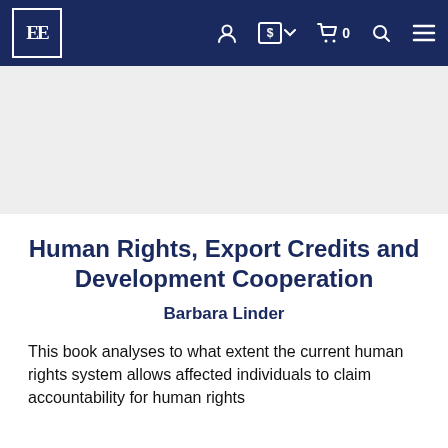EE [logo] navigation bar with user, currency, cart, search, and menu icons
[Figure (other): Empty light gray image placeholder area for book cover]
Human Rights, Export Credits and Development Cooperation
Barbara Linder
This book analyses to what extent the current human rights system allows affected individuals to claim accountability for human rights...